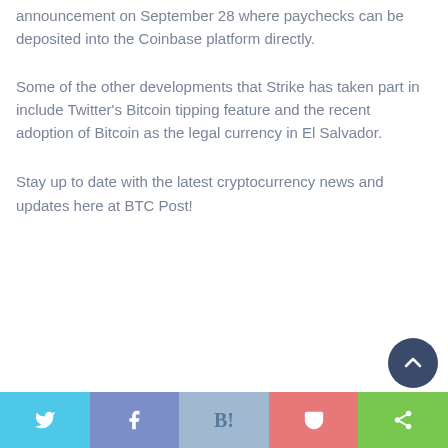announcement on September 28 where paychecks can be deposited into the Coinbase platform directly.
Some of the other developments that Strike has taken part in include Twitter's Bitcoin tipping feature and the recent adoption of Bitcoin as the legal currency in El Salvador.
Stay up to date with the latest cryptocurrency news and updates here at BTC Post!